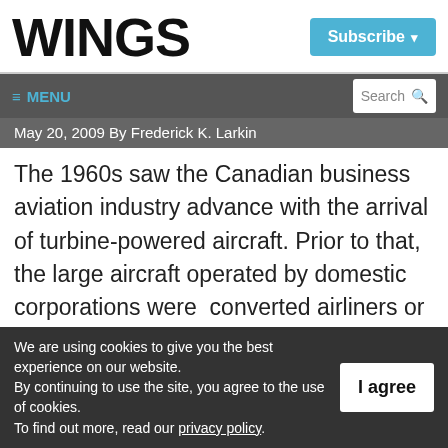WINGS
Subscribe
≡ MENU   Search
May 20, 2009  By Frederick K. Larkin
The 1960s saw the Canadian business aviation industry advance with the arrival of turbine-powered aircraft. Prior to that, the large aircraft operated by domestic corporations were  converted airliners or former military
We are using cookies to give you the best experience on our website.
By continuing to use the site, you agree to the use of cookies.
To find out more, read our privacy policy.